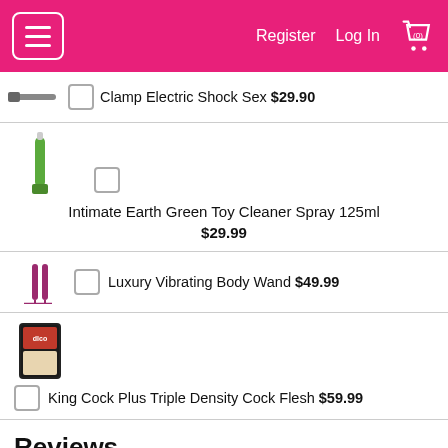Register  Log In  (0)
Clamp Electric Shock Sex $29.90
Intimate Earth Green Toy Cleaner Spray 125ml $29.99
Luxury Vibrating Body Wand $49.99
King Cock Plus Triple Density Cock Flesh $59.99
Reviews
By Alexei, Fresno
Wearing this just puts me into another zone. this is not "just" a position master, its the camo that really gets me. I l... (read more)